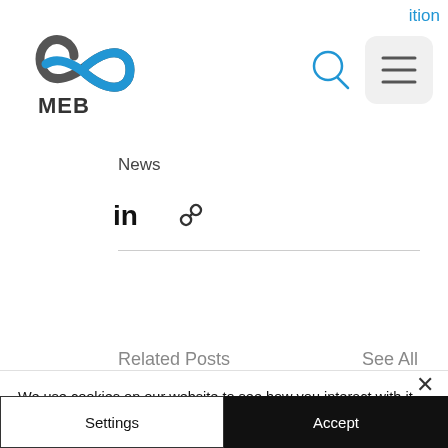ition
[Figure (logo): MEB infinity loop logo with text MEB below]
[Figure (other): Search icon (magnifying glass) and menu button with diagonal lines icon]
News
[Figure (other): LinkedIn icon and chain/link icon for social sharing]
Related Posts
See All
[Figure (photo): Carousel of related post thumbnail images showing architecture/buildings]
We use cookies on our website to see how you interact with it. By accepting, you agree to our use of such cookies. Privacy Policy
Settings
Accept